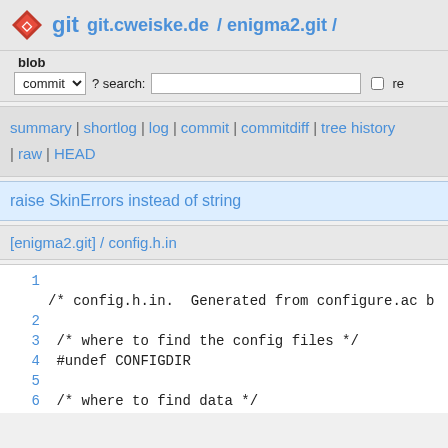git  git.cweiske.de / enigma2.git /
blob
commit ? search:  re
summary | shortlog | log | commit | commitdiff | tree history | raw | HEAD
raise SkinErrors instead of string
[enigma2.git] / config.h.in
1
/* config.h.in.  Generated from configure.ac b
2
3 /* where to find the config files */
4 #undef CONFIGDIR
5
6 /* where to find data */